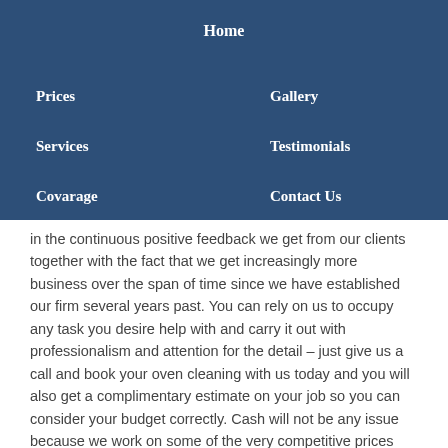Home
Prices
Gallery
Services
Testimonials
Covarage
Contact Us
in the continuous positive feedback we get from our clients together with the fact that we get increasingly more business over the span of time since we have established our firm several years past. You can rely on us to occupy any task you desire help with and carry it out with professionalism and attention for the detail – just give us a call and book your oven cleaning with us today and you will also get a complimentary estimate on your job so you can consider your budget correctly. Cash will not be any issue because we work on some of the very competitive prices available for such type of services in the sector. We aim at keeping the perfect balance between quality and price – simple logic, as well as our practice, reveal that this is the simplest way to reach the ultimate degrees of customer satisfaction which is our main goal after all.